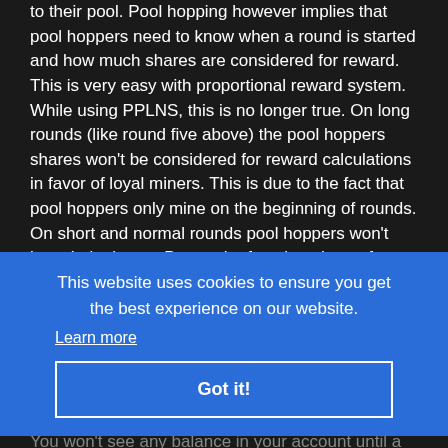to their pool. Pool hopping however implies that pool hoppers need to know when a round is started and how much shares are considered for reward. This is very easy with proportional reward system. While using PPLNS, this is no longer true. On long rounds (like round five above) the pool hoppers shares won't be considered for reward calculations in favor of loyal miners. This is due to the fact that pool hoppers only mine on the beginning of rounds. On short and normal rounds pool hoppers won't lose their shares. Due to the fact that shares from previous rounds from loyal miners are considered twice (or even more often on extremely short rounds) the pool hopper won't get the same reward as from proportional reward system.
This website uses cookies to ensure you get the best experience on our website.
Learn more
Got it!
As soon as blocks have been found, payouts are processed and send every hour. This process is fully automated.
When will I get paid?
You won't see any balance in your account until a block